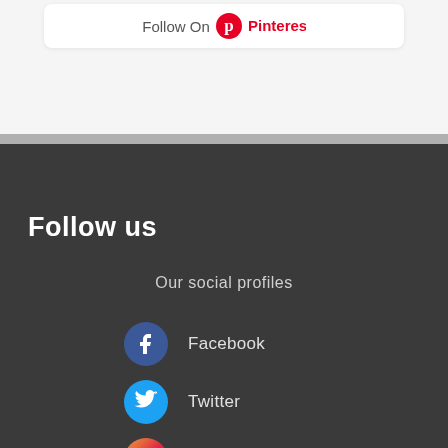[Figure (screenshot): Pinterest follow button banner in white rounded card on light grey background]
Follow us
Our social profiles
Facebook
Twitter
Instagram
Pinterest